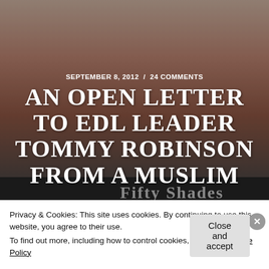[Figure (photo): Close-up photo of a man's face used as a background image, overlaid with article title and metadata]
SEPTEMBER 8, 2012  /  24 COMMENTS
AN OPEN LETTER TO EDL LEADER TOMMY ROBINSON FROM A MUSLIM
Privacy & Cookies: This site uses cookies. By continuing to use this website, you agree to their use.
To find out more, including how to control cookies, see here: Cookie Policy
Close and accept